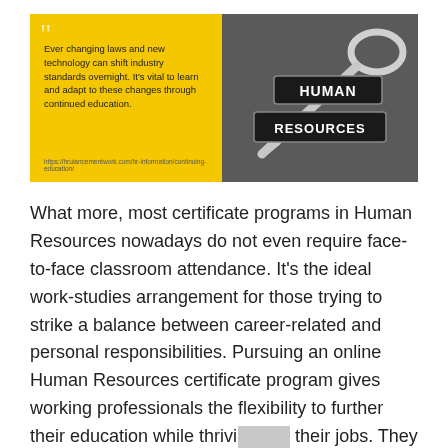[Figure (infographic): Split image: left half is a yellow panel with a quote about ever-changing laws and continuing education; right half is a dark photo of a metal key with 'HUMAN RESOURCES' text on it.]
What more, most certificate programs in Human Resources nowadays do not even require face-to-face classroom attendance. It's the ideal work-studies arrangement for those trying to strike a balance between career-related and personal responsibilities. Pursuing an online Human Resources certificate program gives working professionals the flexibility to further their education while thriving in their jobs. They can take their coursework anytime and anywhere, often at their own pace.